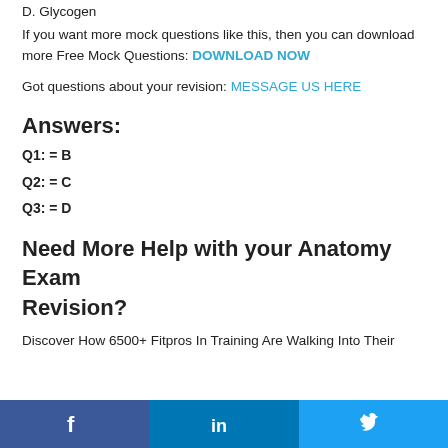D. Glycogen
If you want more mock questions like this, then you can download more Free Mock Questions: DOWNLOAD NOW
Got questions about your revision: MESSAGE US HERE
Answers:
Q1: = B
Q2: = C
Q3: = D
Need More Help with your Anatomy Exam Revision?
Discover How 6500+ Fitpros In Training Are Walking Into Their
[Figure (other): Social media sharing bar with Facebook, LinkedIn, and Twitter icons]